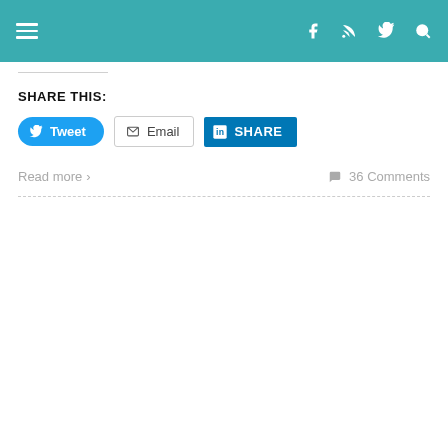Navigation header with hamburger menu and social icons (Facebook, RSS, Twitter, Search)
SHARE THIS:
[Figure (screenshot): Share buttons row: Tweet (Twitter/blue), Email (outline), Share (LinkedIn/blue)]
Read more  ›
36 Comments